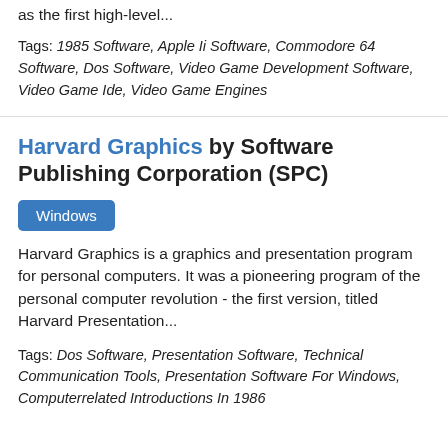as the first high-level...
Tags: 1985 Software, Apple Ii Software, Commodore 64 Software, Dos Software, Video Game Development Software, Video Game Ide, Video Game Engines
Harvard Graphics by Software Publishing Corporation (SPC)
Windows
Harvard Graphics is a graphics and presentation program for personal computers. It was a pioneering program of the personal computer revolution - the first version, titled Harvard Presentation...
Tags: Dos Software, Presentation Software, Technical Communication Tools, Presentation Software For Windows, Computerrelated Introductions In 1986